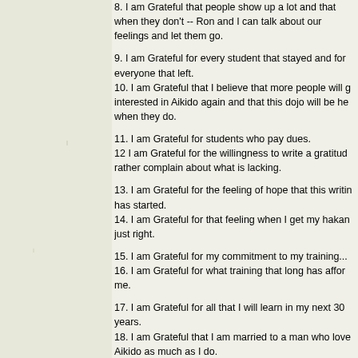8. I am Grateful that people show up a lot and that when they don't -- Ron and I can talk about our feelings and let them go.
9. I am Grateful for every student that stayed and for everyone that left.
10. I am Grateful that I believe that more people will get interested in Aikido again and that this dojo will be here when they do.
11. I am Grateful for students who pay dues.
12 I am Grateful for the willingness to write a gratitude list rather complain about what is lacking.
13. I am Grateful for the feeling of hope that this writing has started.
14. I am Grateful for that feeling when I get my hakama just right.
15. I am Grateful for my commitment to my training...
16. I am Grateful for what training that long has afforded me.
17. I am Grateful for all that I will learn in my next 30 years.
18. I am Grateful that I am married to a man who loves Aikido as much as I do.
19. I am Grateful that I train in the style that I do so I don't have knee or hip problems.
20. I am grateful that I can roll an... More